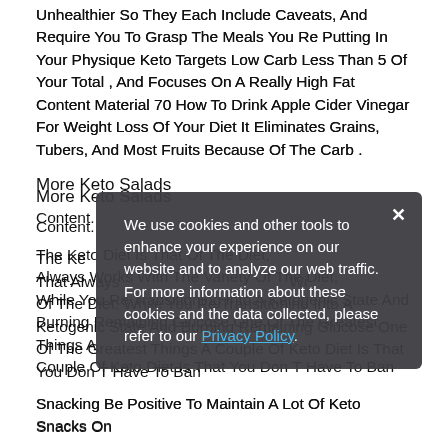Unhealthier So They Each Include Caveats, And Require You To Grasp The Meals You Re Putting In Your Physique Keto Targets Low Carb Less Than 5 Of Your Total , And Focuses On A Really High Fat Content Material 70 How To Drink Apple Cider Vinegar For Weight Loss Of Your Diet It Eliminates Grains, Tubers, And Most Fruits Because Of The Carb .
More Keto Salads
Content.
The Ke...That Always...Of The Diet, While You Re Transitioning Into A Ketogenic State And Burning Remaining Glucose One Of The Greatest Things A Couple Of Keto Diet Is That You Don T Have To Ban
Snacking Be Positive To Maintain A Lot Of Keto Snacks On
We use cookies and other tools to enhance your experience on our website and to analyze our web traffic. For more information about these cookies and the data collected, please refer to our Privacy Policy.